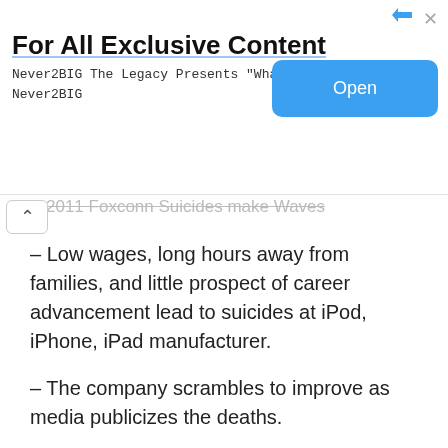[Figure (other): Advertisement banner: 'For All Exclusive Content' with Open button. Never2BIG The Legacy Presents 'What I Did' Never2BIG]
2011 Foxconn Suicides make Waves
– Low wages, long hours away from families, and little prospect of career advancement lead to suicides at iPod, iPhone, iPad manufacturer.
– The company scrambles to improve as media publicizes the deaths.